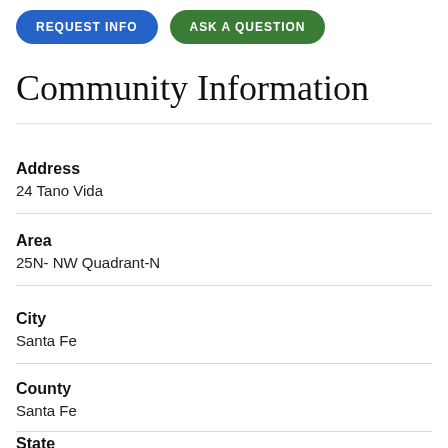[Figure (other): Two rounded pill-shaped buttons: blue 'REQUEST INFO' and green 'ASK A QUESTION']
Community Information
Address
24 Tano Vida
Area
25N- NW Quadrant-N
City
Santa Fe
County
Santa Fe
State
NM